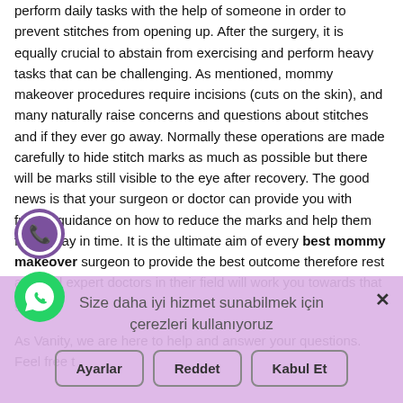perform daily tasks with the help of someone in order to prevent stitches from opening up. After the surgery, it is equally crucial to abstain from exercising and perform heavy tasks that can be challenging. As mentioned, mommy makeover procedures require incisions (cuts on the skin), and many naturally raise concerns and questions about stitches and if they ever go away. Normally these operations are made carefully to hide stitch marks as much as possible but there will be marks still visible to the eye after recovery. The good news is that your surgeon or doctor can provide you with further guidance on how to reduce the marks and help them fade away in time. It is the ultimate aim of every best mommy makeover surgeon to provide the best outcome therefore rest assured expert doctors in their field will work you towards that goal.

As Vanity, we are here to help and answer your questions. Feel free to get in touch with us and find out more about our services and mommy ma...
Size daha iyi hizmet sunabilmek için çerezleri kullanıyoruz